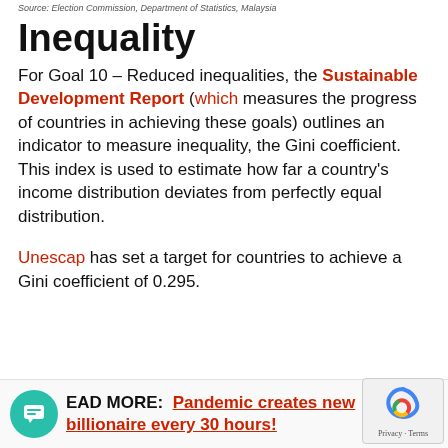Source: Election Commission, Department of Statistics, Malaysia
Inequality
For Goal 10 – Reduced inequalities, the Sustainable Development Report (which measures the progress of countries in achieving these goals) outlines an indicator to measure inequality, the Gini coefficient. This index is used to estimate how far a country's income distribution deviates from perfectly equal distribution.
Unescap has set a target for countries to achieve a Gini coefficient of 0.295.
READ MORE:  Pandemic creates new billionaire every 30 hours!